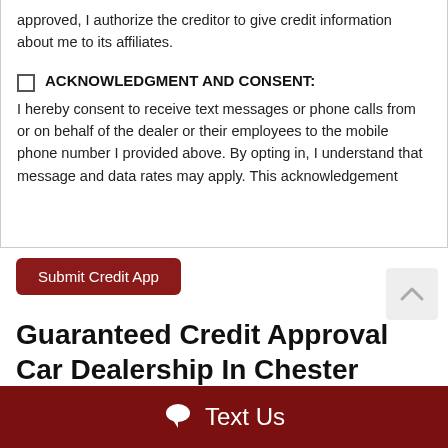approved, I authorize the creditor to give credit information about me to its affiliates.
ACKNOWLEDGMENT AND CONSENT:
I hereby consent to receive text messages or phone calls from or on behalf of the dealer or their employees to the mobile phone number I provided above. By opting in, I understand that message and data rates may apply. This acknowledgement constitutes...
Submit Credit App
Guaranteed Credit Approval Car Dealership In Chester County, PA
Are you looking to buy a quality certified pre-owned vehicle ne... PA...
Text Us